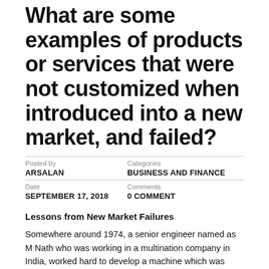What are some examples of products or services that were not customized when introduced into a new market, and failed?
Posted by
ARSALAN
Categories
BUSINESS AND FINANCE
Date
SEPTEMBER 17, 2018
Comments
0 COMMENT
Lessons from New Market Failures
Somewhere around 1974, a senior engineer named as M Nath who was working in a multination company in India, worked hard to develop a machine which was meant to wash clothes and drying them. This machine was supposed to perform both functions itself. At that time if we look at the western countries,